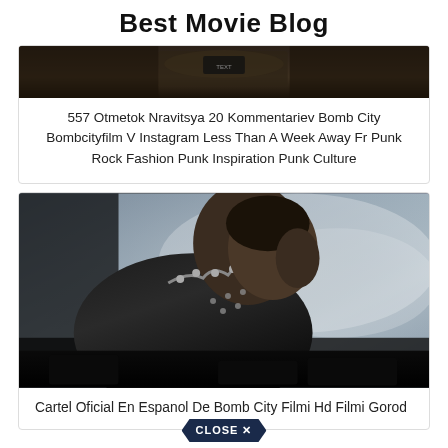Best Movie Blog
[Figure (photo): Dark cropped photo at top of first card, partially visible]
557 Otmetok Nravitsya 20 Kommentariev Bomb City Bombcityfilm V Instagram Less Than A Week Away Fr Punk Rock Fashion Punk Inspiration Punk Culture
[Figure (photo): Movie poster showing a punk figure in leather jacket with spiked collar, bowing head, smoky background, dark cinematic tones]
Cartel Oficial En Espanol De Bomb City Filmi Hd Filmi Gorod
CLOSE ✕